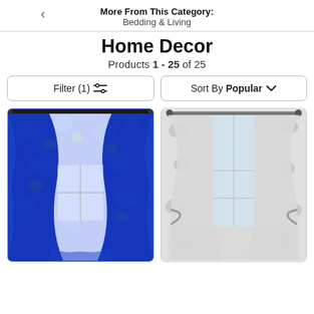More From This Category: Bedding & Living
Home Decor
Products 1 - 25 of 25
Filter (1)  Sort By Popular
[Figure (photo): Blue curtains with colorful cartoon character print (Toy Story themed), hanging on a rod with panels open showing a window behind]
[Figure (photo): White/grey toile patterned curtains hanging on a rod with tie-backs, showing a window behind]